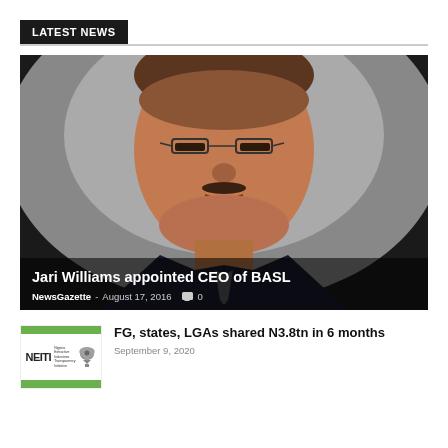LATEST NEWS
[Figure (photo): Portrait photo of Jari Williams, a man wearing glasses and a dark suit, with article title overlay at bottom]
Jari Williams appointed CEO of BASL
NewsGazette - August 17, 2016  0
[Figure (logo): NEITI logo thumbnail with green bars and eagle emblem]
FG, states, LGAs shared N3.8tn in 6 months
September 9, 2020